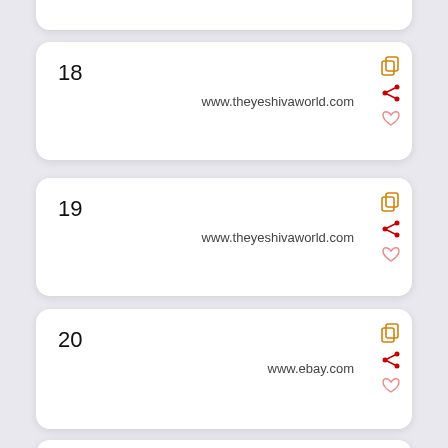18  www.theyeshivaworld.com
19  www.theyeshivaworld.com
20  www.ebay.com
21  www.urbandictionary.com